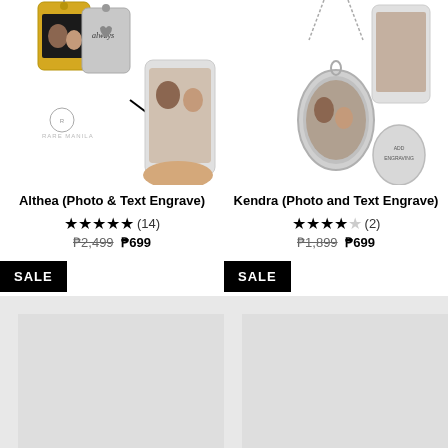[Figure (photo): Product image of Althea Photo and Text Engrave jewelry - dog tags with couple photo and handwriting engraving, with smartphone showing the photo]
Althea (Photo & Text Engrave)
★★★★★ (14)
₱2,499 ₱699
SALE
[Figure (photo): Product image of Kendra Photo and Text Engrave jewelry - oval silver pendant necklace with couple photo, with smartphone showing the photo and a back engraving pendant]
Kendra (Photo and Text Engrave)
★★★★☆ (2)
₱1,899 ₱699
SALE
[Figure (photo): Product image placeholder - loading, gray rectangle]
[Figure (photo): Product image placeholder - loading, gray rectangle]